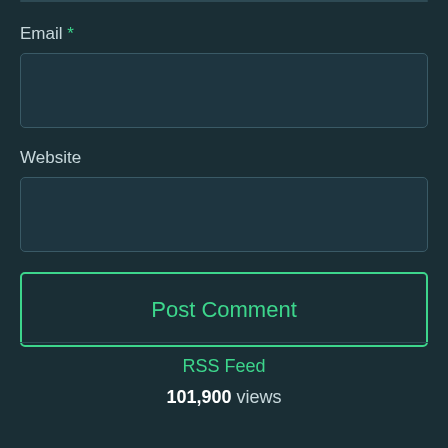Email *
Website
Post Comment
RSS Feed
101,900 views